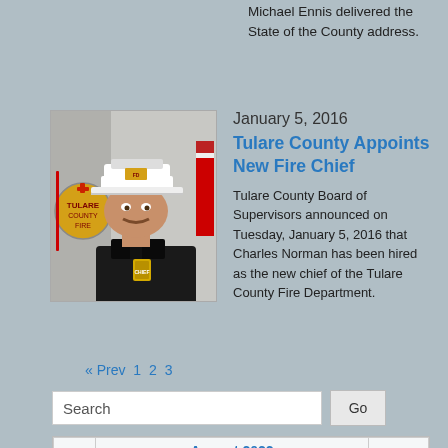Michael Ennis delivered the State of the County address.
January 5, 2016
Tulare County Appoints New Fire Chief
[Figure (photo): Photo of a man in a fire chief uniform and hat, standing in front of a fire department emblem]
Tulare County Board of Supervisors announced on Tuesday, January 5, 2016 that Charles Norman has been hired as the new chief of the Tulare County Fire Department.
« Prev 1 2 3
Search
| « | August 2022 | » |
| --- | --- | --- |
| S | M | T | W | T | F | S |
|  | 1 | 2 | 3 | 4 | 5 | 6 |
| 7 | 8 | 9 | 10 | 11 | 12 | 13 |